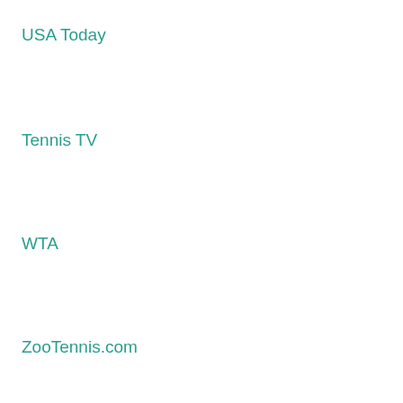USA Today
Tennis TV
WTA
ZooTennis.com